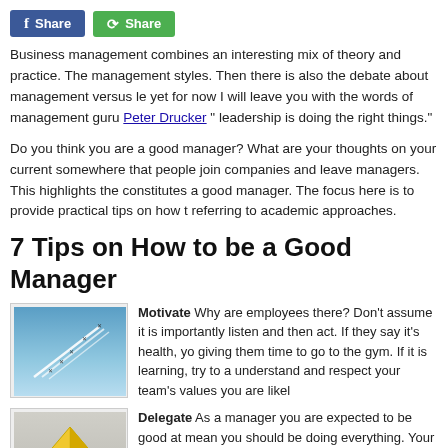[Figure (other): Facebook Share button (blue) and green Share button]
Business management combines an interesting mix of theory and practice. The management styles. Then there is also the debate about management versus le yet for now I will leave you with the words of management guru Peter Drucker “ leadership is doing the right things.”
Do you think you are a good manager? What are your thoughts on your current somewhere that people join companies and leave managers. This highlights the constitutes a good manager. The focus here is to provide practical tips on how t referring to academic approaches.
7 Tips on How to be a Good Manager
[Figure (photo): Airplanes flying in formation leaving white vapor trails against a blue sky]
Motivate Why are employees there? Don’t assume it is importantly listen and then act. If they say it’s health, yo giving them time to go to the gym. If it is learning, try to a understand and respect your team’s values you are likel
[Figure (photo): Hands holding a yellow origami paper shape]
Delegate As a manager you are expected to be good at mean you should be doing everything. Your job is to tea understand what is required let them get on with the tas asked to complete something and then having someone